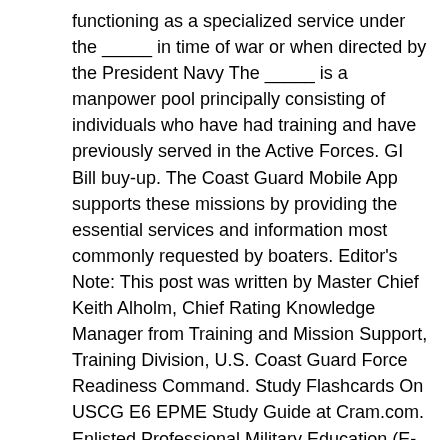functioning as a specialized service under the _____ in time of war or when directed by the President Navy The _____ is a manpower pool principally consisting of individuals who have had training and have previously served in the Active Forces. GI Bill buy-up. The Coast Guard Mobile App supports these missions by providing the essential services and information most commonly requested by boaters. Editor's Note: This post was written by Master Chief Keith Alholm, Chief Rating Knowledge Manager from Training and Mission Support, Training Division, U.S. Coast Guard Force Readiness Command. Study Flashcards On USCG E6 EPME Study Guide at Cram.com. Enlisted Professional Military Education (E-PME) provides a standardized continuum of leadership training and education based on successive pay grades. Subject. PLAY. The E-PME enables Coast Guard enlisted personnel to acquire the knowledge, skills, and abilities required for advancement to positions